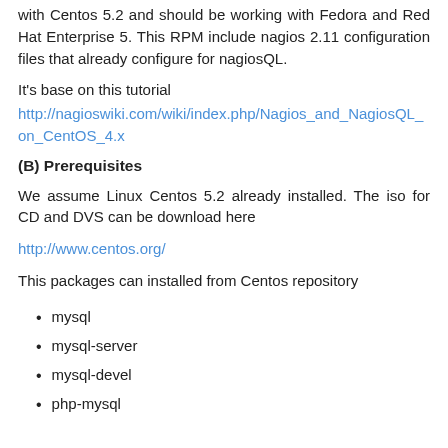with Centos 5.2 and should be working with Fedora and Red Hat Enterprise 5. This RPM include nagios 2.11 configuration files that already configure for nagiosQL.
It's base on this tutorial
http://nagioswiki.com/wiki/index.php/Nagios_and_NagiosQL_on_CentOS_4.x
(B) Prerequisites
We assume Linux Centos 5.2 already installed. The iso for CD and DVS can be download here
http://www.centos.org/
This packages can installed from Centos repository
mysql
mysql-server
mysql-devel
php-mysql